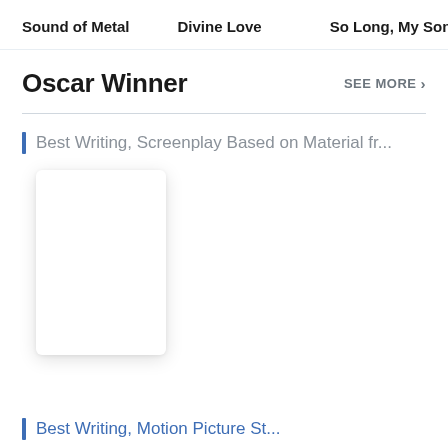Sound of Metal   Divine Love   So Long, My Son   Ba
Oscar Winner
SEE MORE >
Best Writing, Screenplay Based on Material fr...
[Figure (other): White movie poster placeholder card with drop shadow]
Best Writing, Motion Picture St...